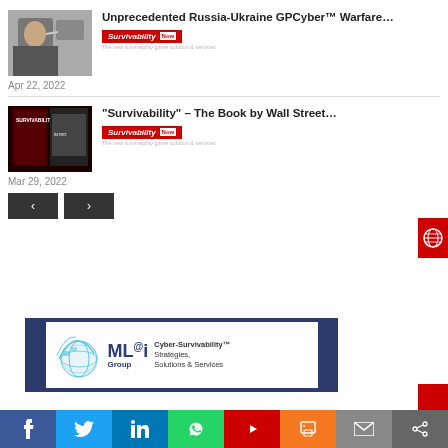[Figure (photo): Photo of a man in a car talking on a phone, wearing a suit]
Unprecedented Russia-Ukraine GPCyber™ Warfare…
[Figure (logo): Survivability logo badge in red]
Apr 22, 2022
[Figure (photo): Book cover image for Survivability book, dark red background with text]
"Survivability" – The Book by Wall Street…
[Figure (logo): Survivability logo badge in red]
Mar 29, 2022
[Figure (illustration): MLi Group logo with globe graphic. Text: Cyber-Survivability™ Strategies, Solutions & Services]